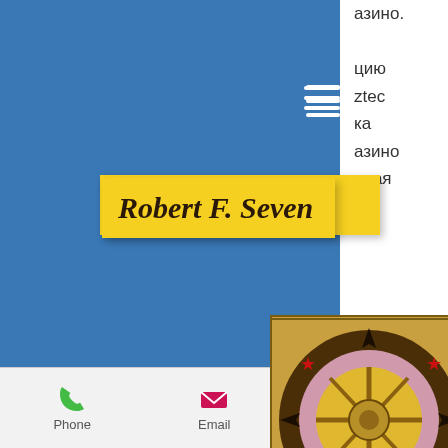[Figure (screenshot): Mobile website screenshot showing Robert F. Seven blog/website with blue header, yellow logo banner, casino wheel image, Russian text about bitstarz casino, and a contact footer bar with Phone, Email, Facebook.]
Robert F. Seven
[Figure (illustration): Circular decorative casino wheel / mandala illustration with red stars, gold and pink colors, on a tan background with black border]
bitstarz casino. Онлайн казино bitstarz - отзывы игроков. Нет обзоров для bitstarz. Будьте первым и оставьте отзыв. Bitstarz casino основано в 2014 году, управляется direx n. Обзор казино отзывы казино бонусы казино. Не принимают игроков из сша Bitstarz casino: акции, новости, отзывы. В казино bitstarz новые игроки
Phone   Email   Facebook